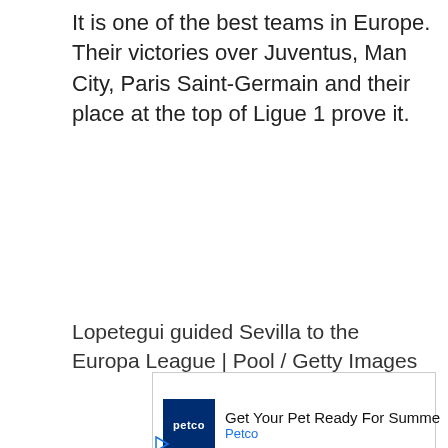It is one of the best teams in Europe. Their victories over Juventus, Man City, Paris Saint-Germain and their place at the top of Ligue 1 prove it.
Lopetegui guided Sevilla to the Europa League | Pool / Getty Images
[Figure (other): Petco advertisement banner: 'Get Your Pet Ready For Summe' with Petco logo and navigation arrow icon]